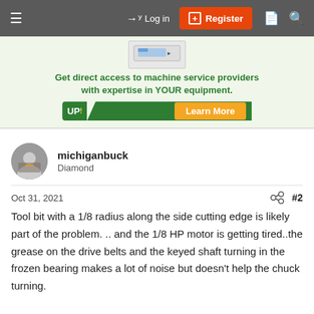Log in | Register
[Figure (infographic): Advertisement banner: 'Get direct access to machine service providers with expertise in YOUR equipment.' with UP! logo and Learn More button]
michiganbuck
Diamond
Oct 31, 2021  #2
Tool bit with a 1/8 radius along the side cutting edge is likely part of the problem. .. and the 1/8 HP motor is getting tired..the grease on the drive belts and the keyed shaft turning in the frozen bearing makes a lot of noise but doesn't help the chuck turning.